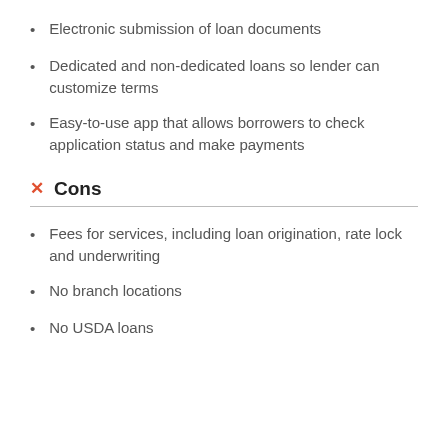Electronic submission of loan documents
Dedicated and non-dedicated loans so lender can customize terms
Easy-to-use app that allows borrowers to check application status and make payments
Cons
Fees for services, including loan origination, rate lock and underwriting
No branch locations
No USDA loans